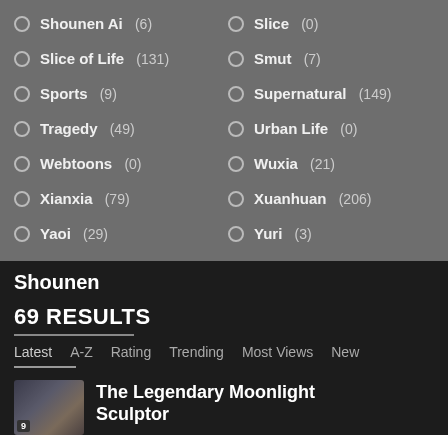Shounen Ai (6)
Slice (0)
Slice of Life (131)
Smut (7)
Sports (9)
Supernatural (149)
Tragedy (49)
Urban Life (0)
Webtoons (0)
Wuxia (21)
Xianxia (79)
Xuanhuan (206)
Yaoi (29)
Yuri (3)
Shounen
69 RESULTS
Latest  A-Z  Rating  Trending  Most Views  New
The Legendary Moonlight Sculptor